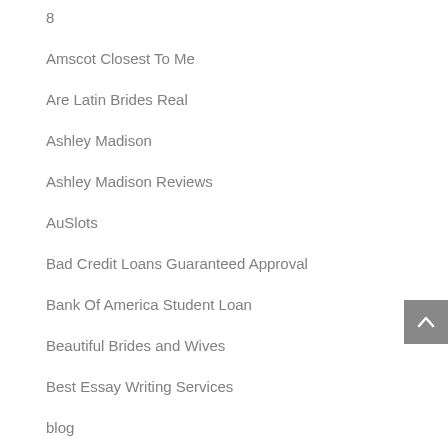8
Amscot Closest To Me
Are Latin Brides Real
Ashley Madison
Ashley Madison Reviews
AuSlots
Bad Credit Loans Guaranteed Approval
Bank Of America Student Loan
Beautiful Brides and Wives
Best Essay Writing Services
blog
Bride Tips
Brides From Mexican